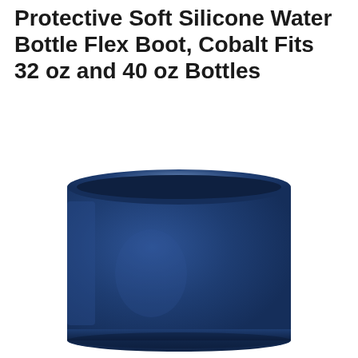Protective Soft Silicone Water Bottle Flex Boot, Cobalt Fits 32 oz and 40 oz Bottles
[Figure (photo): A cobalt blue silicone water bottle boot/sleeve. The boot is cylindrical with rounded bottom edges, matte blue finish, viewed from a slightly elevated angle showing the open top rim. The interior top edge is slightly lighter in color.]